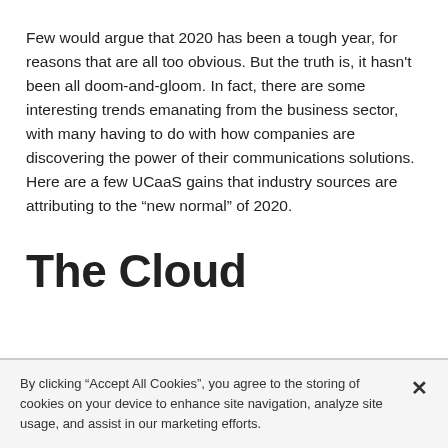Few would argue that 2020 has been a tough year, for reasons that are all too obvious. But the truth is, it hasn't been all doom-and-gloom. In fact, there are some interesting trends emanating from the business sector, with many having to do with how companies are discovering the power of their communications solutions. Here are a few UCaaS gains that industry sources are attributing to the “new normal” of 2020.
The Cloud
By clicking “Accept All Cookies”, you agree to the storing of cookies on your device to enhance site navigation, analyze site usage, and assist in our marketing efforts.